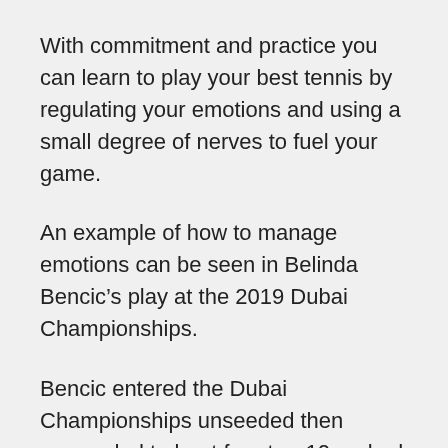With commitment and practice you can learn to play your best tennis by regulating your emotions and using a small degree of nerves to fuel your game.
An example of how to manage emotions can be seen in Belinda Bencic’s play at the 2019 Dubai Championships.
Bencic entered the Dubai Championships unseeded then proceeded to beat four top-10 ranked players en route to winning her first WTA title in three-and-a-half years.